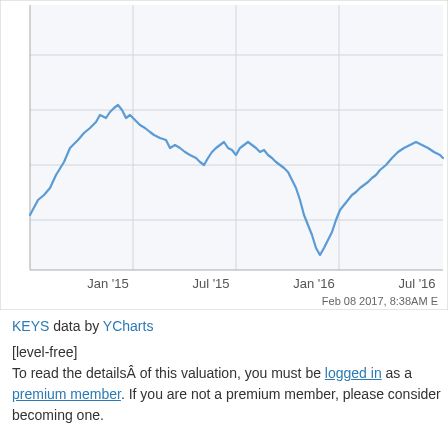[Figure (continuous-plot): Line chart showing KEYS stock price from approximately January 2015 to July 2016. The stock starts around 28, rises to a peak near 38 around March 2015, then declines through mid-2015, fluctuates around 28-32, falls sharply to a low near 18 in January-February 2016, then recovers to around 30-33 by July 2016. X-axis labels: Jan '15, Jul '15, Jan '16, Jul '16. Chart timestamp: Feb 08 2017, 8:38AM E]
KEYS data by YCharts
[level-free]
To read the detailsÂ of this valuation, you must be logged in as a premium member. If you are not a premium member, please consider becoming one.